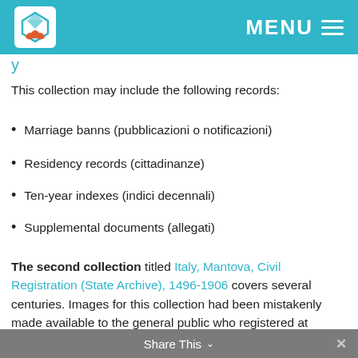MENU
This collection may include the following records:
Marriage banns (pubblicazioni o notificazioni)
Residency records (cittadinanze)
Ten-year indexes (indici decennali)
Supplemental documents (allegati)
The second collection titled Italy, Mantova, Civil Registration (State Archive), 1496-1906 covers several centuries. Images for this collection had been mistakenly made available to the general public who registered at FamilySearch. However, because of the agreement signed 30 June 2011, the publication rights of images belongs to the Italian National Archives (DGA) who publishes